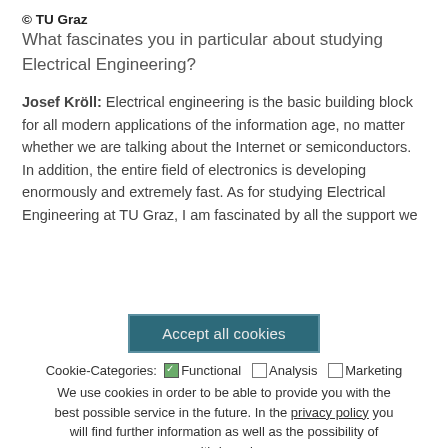© TU Graz
What fascinates you in particular about studying Electrical Engineering?
Josef Kröll: Electrical engineering is the basic building block for all modern applications of the information age, no matter whether we are talking about the Internet or semiconductors. In addition, the entire field of electronics is developing enormously and extremely fast. As for studying Electrical Engineering at TU Graz, I am fascinated by all the support we
Accept all cookies
Cookie-Categories: ☑ Functional ☐ Analysis ☐ Marketing
We use cookies in order to be able to provide you with the best possible service in the future. In the privacy policy you will find further information as well as the possibility of withdrawal.
Save preferences